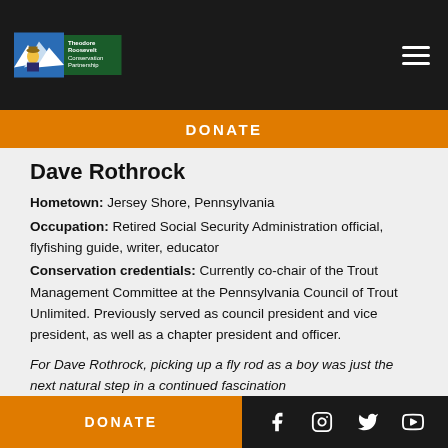Theodore Roosevelt Conservation Partnership
DONATE
Dave Rothrock
Hometown: Jersey Shore, Pennsylvania
Occupation: Retired Social Security Administration official, flyfishing guide, writer, educator
Conservation credentials: Currently co-chair of the Trout Management Committee at the Pennsylvania Council of Trout Unlimited. Previously served as council president and vice president, as well as a chapter president and officer.
For Dave Rothrock, picking up a fly rod as a boy was just the next natural step in a continued fascination
DONATE